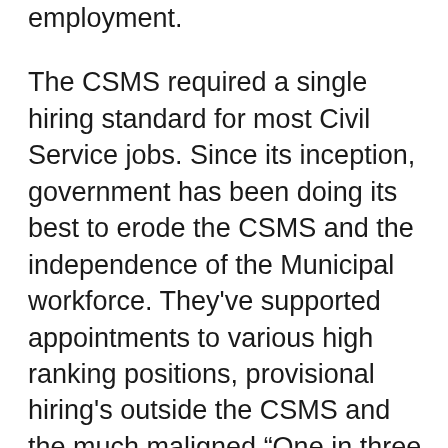employment.
The CSMS required a single hiring standard for most Civil Service jobs. Since its inception, government has been doing its best to erode the CSMS and the independence of the Municipal workforce. They've supported appointments to various high ranking positions, provisional hiring's outside the CSMS and the much maligned “One in three rule,” where the City can pick one from among the three candidates next in line to fill any given position.
Over the past three decades the City has found some unlikely allies. Black groups have complained that the written portion of the exam